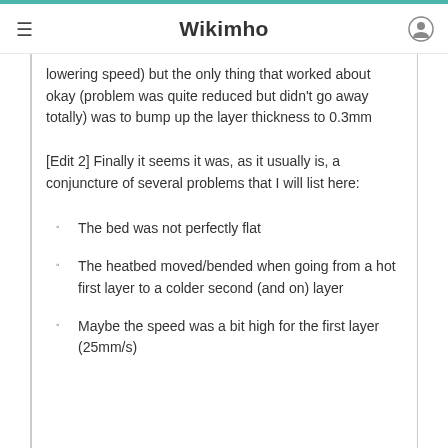Wikimho
lowering speed) but the only thing that worked about okay (problem was quite reduced but didn't go away totally) was to bump up the layer thickness to 0.3mm
[Edit 2] Finally it seems it was, as it usually is, a conjuncture of several problems that I will list here:
The bed was not perfectly flat
The heatbed moved/bended when going from a hot first layer to a colder second (and on) layer
Maybe the speed was a bit high for the first layer (25mm/s)